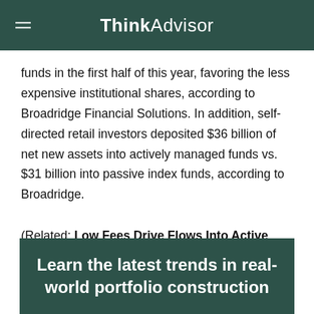ThinkAdvisor
funds in the first half of this year, favoring the less expensive institutional shares, according to Broadridge Financial Solutions. In addition, self-directed retail investors deposited $36 billion of net new assets into actively managed funds vs. $31 billion into passive index funds, according to Broadridge.
(Related: Low Fees Drive Flows Into Active Funds: Broadridge)
Learn the latest trends in real-world portfolio construction